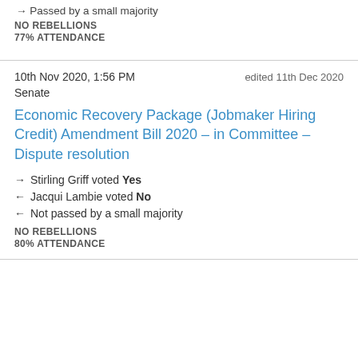→ Passed by a small majority
NO REBELLIONS
77% ATTENDANCE
10th Nov 2020, 1:56 PM
edited 11th Dec 2020
Senate
Economic Recovery Package (Jobmaker Hiring Credit) Amendment Bill 2020 – in Committee – Dispute resolution
→ Stirling Griff voted Yes
← Jacqui Lambie voted No
← Not passed by a small majority
NO REBELLIONS
80% ATTENDANCE